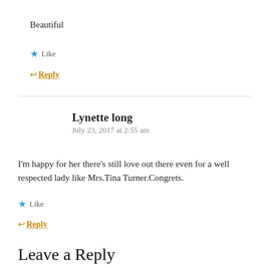Beautiful
★ Like
↩ Reply
Lynette long
July 23, 2017 at 2:55 am
I'm happy for her there's still love out there even for a well respected lady like Mrs.Tina Turner.Congrets.
★ Like
↩ Reply
Leave a Reply